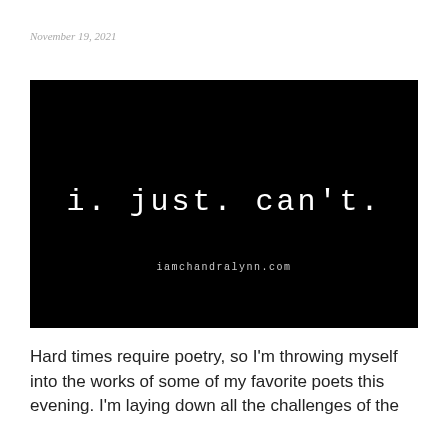November 19, 2021
[Figure (illustration): Black background image with white monospaced text reading 'i. just. can't.' and smaller text below reading 'iamchandralynn.com']
Hard times require poetry, so I'm throwing myself into the works of some of my favorite poets this evening. I'm laying down all the challenges of the week, the month, the year, all the disgust I feel over